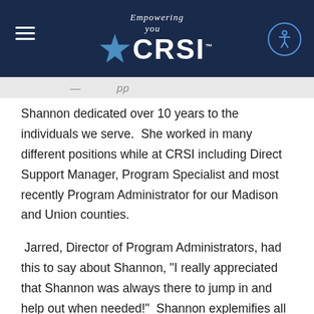CRSI — Empowering You
Shannon dedicated over 10 years to the individuals we serve.  She worked in many different positions while at CRSI including Direct Support Manager, Program Specialist and most recently Program Administrator for our Madison and Union counties.
Jarred, Director of Program Administrators, had this to say about Shannon, "I really appreciated that Shannon was always there to jump in and help out when needed!"  Shannon explemifies all that we want out in an employee at CRSI. She will be truly missed and we